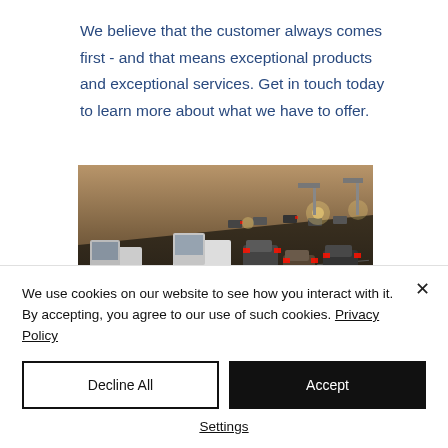We believe that the customer always comes first - and that means exceptional products and exceptional services. Get in touch today to learn more about what we have to offer.
[Figure (photo): Overhead view of heavy traffic on a multi-lane highway with trucks and cars, brake lights visible, taken at dusk or evening.]
We use cookies on our website to see how you interact with it. By accepting, you agree to our use of such cookies. Privacy Policy
Decline All
Accept
Settings